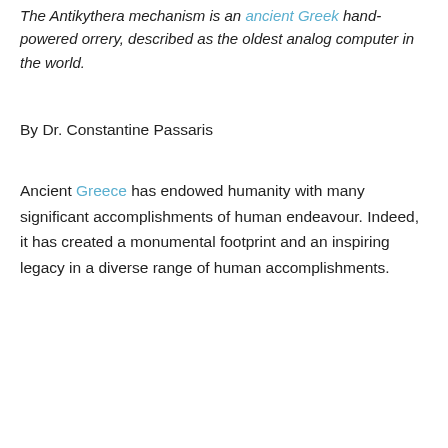The Antikythera mechanism is an ancient Greek hand-powered orrery, described as the oldest analog computer in the world.
By Dr. Constantine Passaris
Ancient Greece has endowed humanity with many significant accomplishments of human endeavour. Indeed, it has created a monumental footprint and an inspiring legacy in a diverse range of human accomplishments.